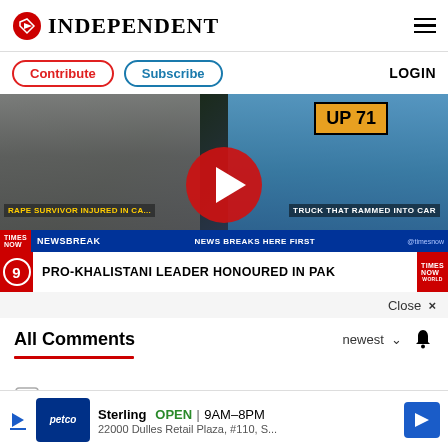INDEPENDENT
Contribute  Subscribe  LOGIN
[Figure (screenshot): Video thumbnail showing a car crash scene with a Times Now news ticker at the bottom. Ticker reads: NEWSBREAK | NEWS BREAKS HERE FIRST | @timesnow. Breaking news headline: PRO-KHALISTANI LEADER HONOURED IN PAK. A large red play button is overlaid in the center.]
Close ×
All Comments
newest ∨
Start the conversation
Sterling  OPEN | 9AM–8PM  22000 Dulles Retail Plaza, #110, S...